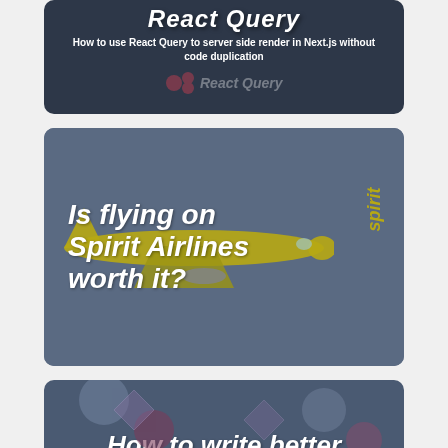[Figure (screenshot): Card showing React Query article thumbnail with title partially visible at top]
React Query
How to use React Query to server side render in Next.js without code duplication
[Figure (photo): Card showing Spirit Airlines airplane in flight against grey-blue sky background with 'Is flying on Spirit Airlines worth it?' title overlaid]
Is flying on Spirit Airlines worth it?
[Figure (screenshot): Partially visible card at bottom with 'How to write better' title]
How to write better